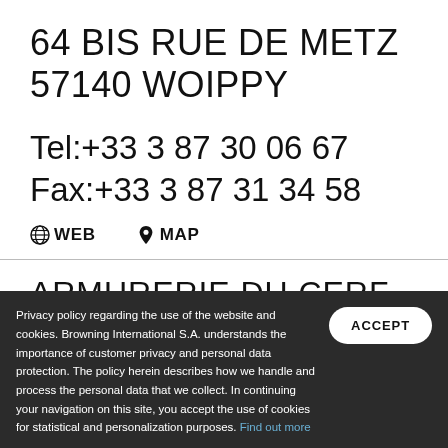64 BIS RUE DE METZ 57140 WOIPPY
Tel:+33 3 87 30 06 67
Fax:+33 3 87 31 34 58
WEB   MAP
ARMURERIE DU CERF SAS
3 ROUTE DE NEUNHOEFEN
Privacy policy regarding the use of the website and cookies. Browning International S.A. understands the importance of customer privacy and personal data protection. The policy herein describes how we handle and process the personal data that we collect. In continuing your navigation on this site, you accept the use of cookies for statistical and personalization purposes. Find out more